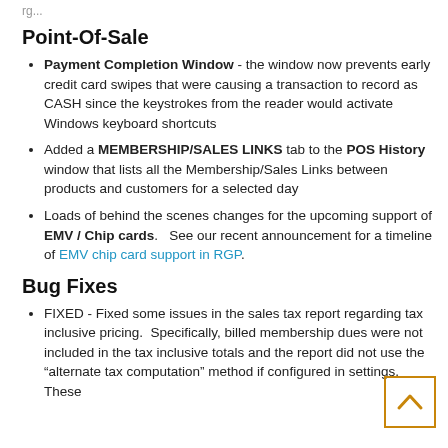rg...
Point-Of-Sale
Payment Completion Window - the window now prevents early credit card swipes that were causing a transaction to record as CASH since the keystrokes from the reader would activate Windows keyboard shortcuts
Added a MEMBERSHIP/SALES LINKS tab to the POS History window that lists all the Membership/Sales Links between products and customers for a selected day
Loads of behind the scenes changes for the upcoming support of EMV / Chip cards.   See our recent announcement for a timeline of EMV chip card support in RGP.
Bug Fixes
FIXED - Fixed some issues in the sales tax report regarding tax inclusive pricing.  Specifically, billed membership dues were not included in the tax inclusive totals and the report did not use the “alternate tax computation” method if configured in settings.    These